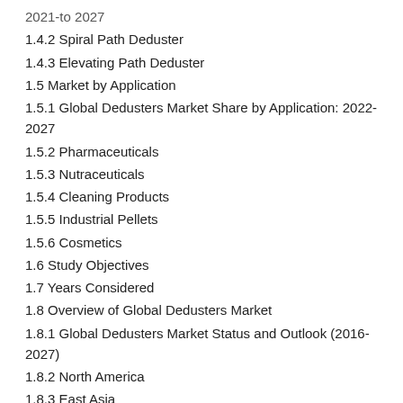2021-to 2027
1.4.2 Spiral Path Deduster
1.4.3 Elevating Path Deduster
1.5 Market by Application
1.5.1 Global Dedusters Market Share by Application: 2022-2027
1.5.2 Pharmaceuticals
1.5.3 Nutraceuticals
1.5.4 Cleaning Products
1.5.5 Industrial Pellets
1.5.6 Cosmetics
1.6 Study Objectives
1.7 Years Considered
1.8 Overview of Global Dedusters Market
1.8.1 Global Dedusters Market Status and Outlook (2016-2027)
1.8.2 North America
1.8.3 East Asia
1.8.4 Europe